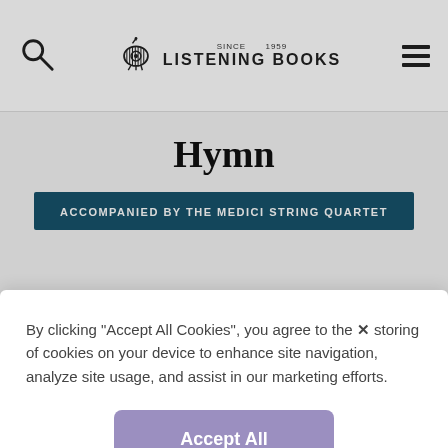Listening Books — navigation bar with search, eye logo, Listening Books brand, hamburger menu
Hymn
ACCOMPANIED BY THE MEDICI STRING QUARTET
By clicking “Accept All Cookies”, you agree to the storing of cookies on your device to enhance site navigation, analyze site usage, and assist in our marketing efforts.
Accept All Cookies
Cookies Settings